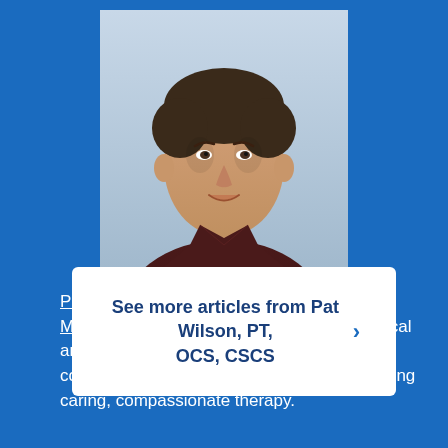[Figure (photo): Headshot of Pat Wilson, a middle-aged man with short dark hair, wearing a dark brown/maroon collared shirt, smiling, against a light blue/gray background.]
Pat Wilson, PT, OCS, CSCS, manages the Methodist Physicians Clinic outpatient physical and occupational therapy clinic. He is committed to leading by example and providing caring, compassionate therapy.
See more articles from Pat Wilson, PT, OCS, CSCS ›